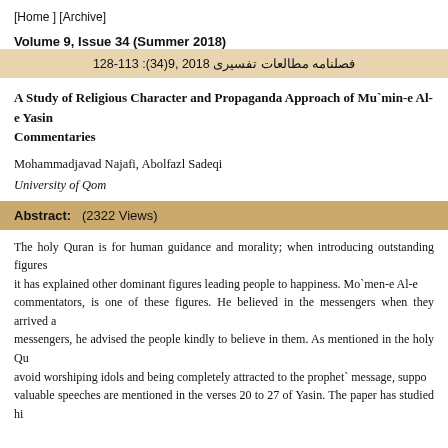[Home ] [Archive]
Volume 9, Issue 34 (Summer 2018)
فصلنامه مطالعات تفسیری 2018 ,9(34): 113-128
A Study of Religious Character and Propaganda Approach of Mu`min-e Al-e Yasin Commentaries
Mohammadjavad Najafi, Abolfazl Sadeqi
University of Qom
Abstract: (2322 Views)
The holy Quran is for human guidance and morality; when introducing outstanding figures it has explained other dominant figures leading people to happiness. Mo`men-e Al-e commentators, is one of these figures. He believed in the messengers when they arrived a messengers, he advised the people kindly to believe in them. As mentioned in the holy Qu avoid worshiping idols and being completely attracted to the prophet` message, suppo valuable speeches are mentioned in the verses 20 to 27 of Yasin. The paper has studied hi